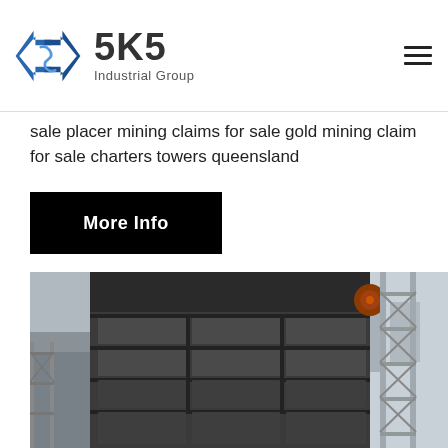[Figure (logo): SKS Industrial Group logo with angular diamond/arrow shaped symbol in blue and a hamburger menu icon in the top right]
sale placer mining claims for sale gold mining claim for sale charters towers queensland
More Info
[Figure (photo): Industrial mining screening/vibrating equipment photographed from below, showing a large metal multi-deck screen structure with horizontal panels and scaffolding/stairs visible on the right side]